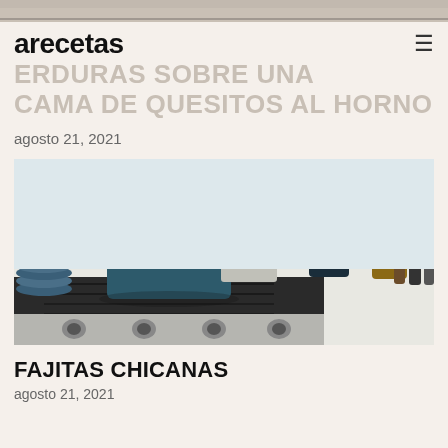[Figure (photo): Top strip of a partially visible food/kitchen image]
arecetas
VERDURAS SOBRE UNA CAMA DE QUESITOS AL HORNO
agosto 21, 2021
[Figure (photo): Kitchen countertop with blue cast iron pot, dark ceramic canister, stainless steel stove with knobs, small pots, stacked blue plates, and a potted plant in the background]
FAJITAS CHICANAS
agosto 21, 2021